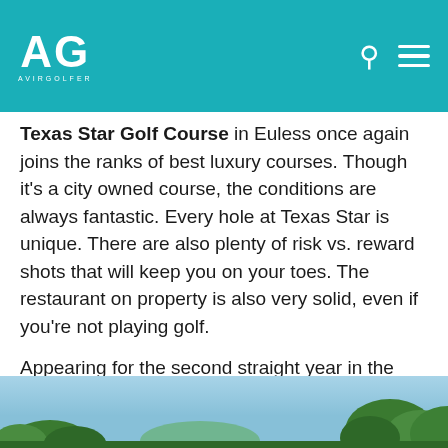AG AVIRGOLFER
Texas Star Golf Course in Euless once again joins the ranks of best luxury courses. Though it's a city owned course, the conditions are always fantastic. Every hole at Texas Star is unique. There are also plenty of risk vs. reward shots that will keep you on your toes. The restaurant on property is also very solid, even if you're not playing golf.
Appearing for the second straight year in the luxury category is Southern Oaks Golf Club in Burleson. After changing ownership in 2016, the attention to detail and course maintenance really began to shine. Not only is the course fantastic, but the clubhouse and patio are a great place to enjoy some post round cocktails with friends. Southern Oaks has truly returned to form.
[Figure (photo): Outdoor photo showing a clear blue sky with green trees visible along the bottom edge, likely a golf course scene.]